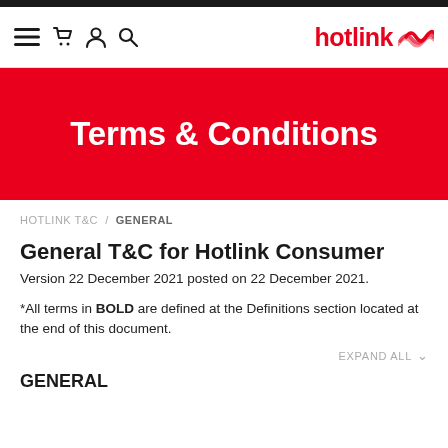hotlink — navigation bar with menu, cart, user, search icons and hotlink logo
Terms & Conditions
HOTLINK T&C / GENERAL
General T&C for Hotlink Consumer
Version 22 December 2021 posted on 22 December 2021.
*All terms in BOLD are defined at the Definitions section located at the end of this document.
EXPAND ALL
GENERAL